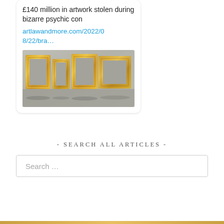£140 million in artwork stolen during bizarre psychic con
artlawandmore.com/2022/08/22/bra…
[Figure (photo): Four ornate gold picture frames leaning against a grey concrete wall, arranged side by side in a row.]
- SEARCH ALL ARTICLES -
Search …